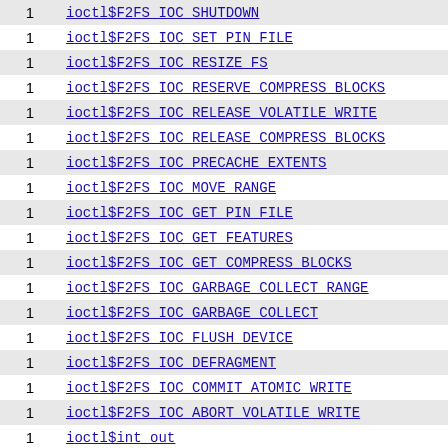| Count | Symbol |
| --- | --- |
| 1 | ioctl$F2FS_IOC_SHUTDOWN |
| 1 | ioctl$F2FS_IOC_SET_PIN_FILE |
| 1 | ioctl$F2FS_IOC_RESIZE_FS |
| 1 | ioctl$F2FS_IOC_RESERVE_COMPRESS_BLOCKS |
| 1 | ioctl$F2FS_IOC_RELEASE_VOLATILE_WRITE |
| 1 | ioctl$F2FS_IOC_RELEASE_COMPRESS_BLOCKS |
| 1 | ioctl$F2FS_IOC_PRECACHE_EXTENTS |
| 1 | ioctl$F2FS_IOC_MOVE_RANGE |
| 1 | ioctl$F2FS_IOC_GET_PIN_FILE |
| 1 | ioctl$F2FS_IOC_GET_FEATURES |
| 1 | ioctl$F2FS_IOC_GET_COMPRESS_BLOCKS |
| 1 | ioctl$F2FS_IOC_GARBAGE_COLLECT_RANGE |
| 1 | ioctl$F2FS_IOC_GARBAGE_COLLECT |
| 1 | ioctl$F2FS_IOC_FLUSH_DEVICE |
| 1 | ioctl$F2FS_IOC_DEFRAGMENT |
| 1 | ioctl$F2FS_IOC_COMMIT_ATOMIC_WRITE |
| 1 | ioctl$F2FS_IOC_ABORT_VOLATILE_WRITE |
| 1 | ioctl$int_out |
| 1 | ioctl$EXT4_IOC_SHUTDOWN |
| 1 | ioctl$EXT4_IOC_RESIZE_FS |
| 1 | ioctl$EXT4_IOC_PRECACHE_EXTENTS |